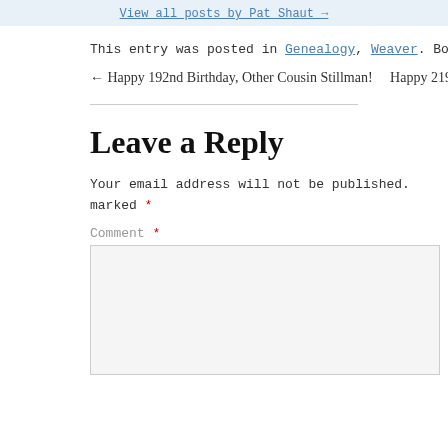View all posts by Pat Shaut →
This entry was posted in Genealogy, Weaver. Bookmark the p
← Happy 192nd Birthday, Other Cousin Stillman!    Happy 219
Leave a Reply
Your email address will not be published. marked *
Comment *